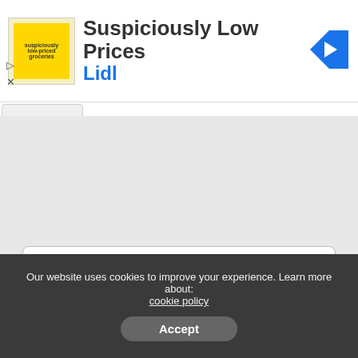[Figure (other): Advertisement banner showing a Lidl supermarket ad with thumbnail image, 'Suspiciously Low Prices' heading, 'Lidl' subtitle in blue, and a blue arrow navigation icon]
[Figure (other): Collapse/toggle button with upward caret arrow, partially visible above gray area]
[Figure (other): Gray placeholder/content area below the ad collapse button]
Table of Contents
1. Jobs in South Africa 2022
1.0.1. Sales Assistant – Cape Union Mart – Watercrest Mall
1.0.2. Lift Apprentice
1.0.3. Cashier
Our website uses cookies to improve your experience. Learn more about: cookie policy
Accept